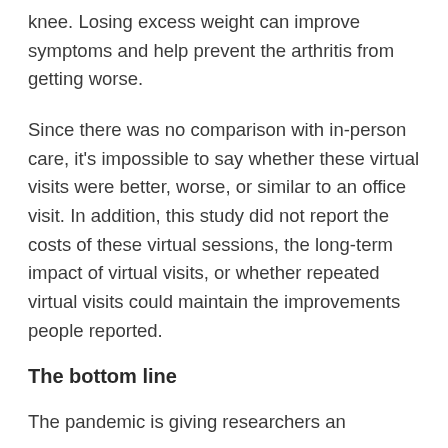knee. Losing excess weight can improve symptoms and help prevent the arthritis from getting worse.
Since there was no comparison with in-person care, it's impossible to say whether these virtual visits were better, worse, or similar to an office visit. In addition, this study did not report the costs of these virtual sessions, the long-term impact of virtual visits, or whether repeated virtual visits could maintain the improvements people reported.
The bottom line
The pandemic is giving researchers an